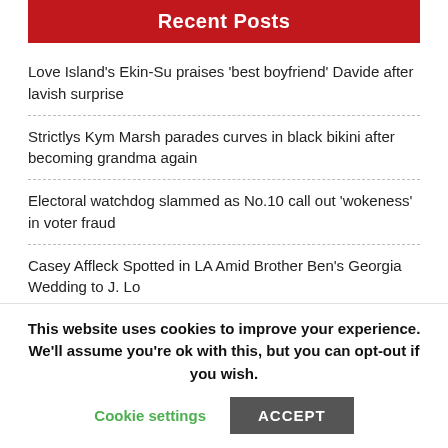Recent Posts
Love Island's Ekin-Su praises 'best boyfriend' Davide after lavish surprise
Strictlys Kym Marsh parades curves in black bikini after becoming grandma again
Electoral watchdog slammed as No.10 call out 'wokeness' in voter fraud
Casey Affleck Spotted in LA Amid Brother Ben's Georgia Wedding to J. Lo
Good luck buying into Perth's most tightly held suburbs
This website uses cookies to improve your experience. We'll assume you're ok with this, but you can opt-out if you wish.